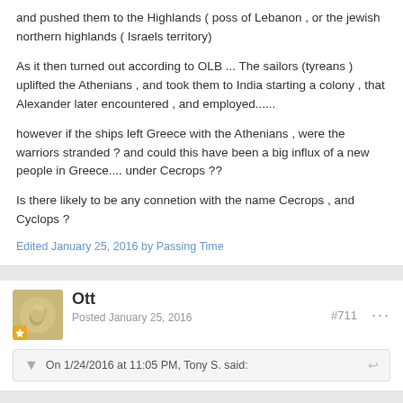and pushed them to the Highlands ( poss of Lebanon , or the jewish northern highlands ( Israels territory)
As it then turned out according to OLB ... The sailors (tyreans ) uplifted the Athenians , and took them to India starting a colony , that Alexander later encountered , and employed......
however if the ships left Greece with the Athenians , were the warriors stranded ? and could this have been a big influx of a new people in Greece.... under Cecrops ??
Is there likely to be any connetion with the name Cecrops , and Cyclops ?
Edited January 25, 2016 by Passing Time
Ott
Posted January 25, 2016
#711
On 1/24/2016 at 11:05 PM, Tony S. said: